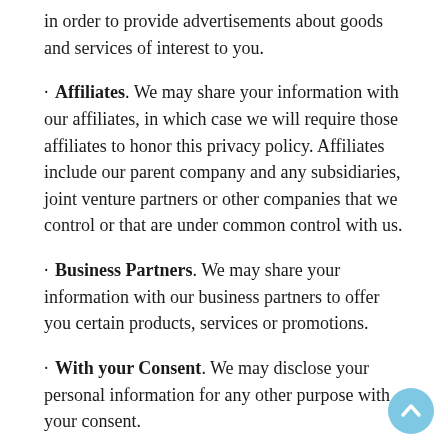in order to provide advertisements about goods and services of interest to you.
Affiliates. We may share your information with our affiliates, in which case we will require those affiliates to honor this privacy policy. Affiliates include our parent company and any subsidiaries, joint venture partners or other companies that we control or that are under common control with us.
Business Partners. We may share your information with our business partners to offer you certain products, services or promotions.
With your Consent. We may disclose your personal information for any other purpose with your consent.
Other Users. When you share personal information (for example, by posting comments, contributions or other content to the Sites) or otherwise interact with public